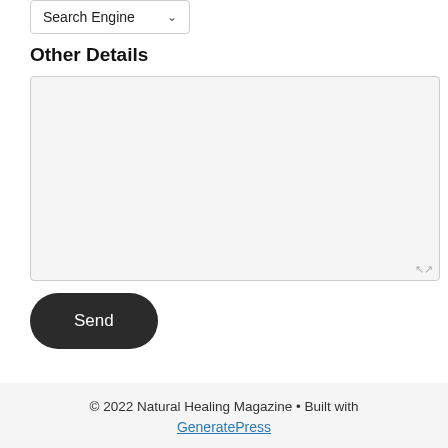[Figure (screenshot): A dropdown/select box showing 'Search Engine' with a chevron arrow]
Other Details
[Figure (screenshot): A large empty textarea input box with a resize handle in the bottom-right corner]
[Figure (screenshot): A dark rounded 'Send' button]
© 2022 Natural Healing Magazine • Built with GeneratePress